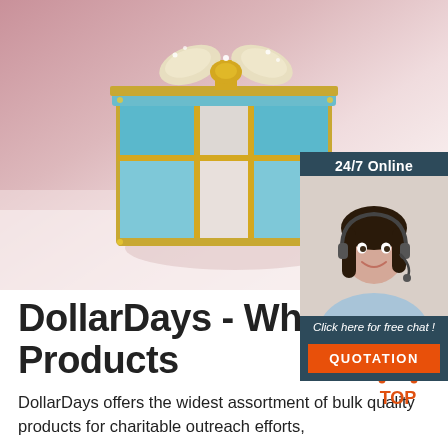[Figure (photo): A decorative blue and white enamel gift box with gold trim and a bow, on a pink background. A customer service agent (woman with headset) is shown in a sidebar chat widget.]
24/7 Online
Click here for free chat !
QUOTATION
DollarDays - Wholesale Products
DollarDays offers the widest assortment of bulk quality products for charitable outreach efforts, store fronts for charity, and more! Save up to 70%...